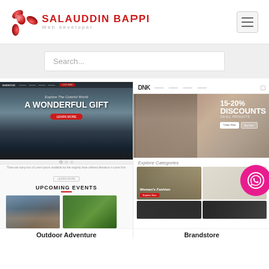[Figure (logo): Red swirling 3D logo mark with SALAUDDIN BAPPI brand name and 'Web developer' subtitle, plus hamburger menu icon]
[Figure (screenshot): Search bar UI element with placeholder text 'Search...']
[Figure (screenshot): Left website screenshot: Outdoor Adventure theme with hero image of mountains and lake, 'A WONDERFUL GIFT' heading, upcoming events section with two thumbnail images]
Outdoor Adventure
[Figure (screenshot): Right website screenshot: DNK brandstore ecommerce theme with hero banner '15-20% DISCOUNTS ON ALL PRODUCTS', Explore Categories section with Women's Fashion category and WhatsApp contact button]
Brandstore